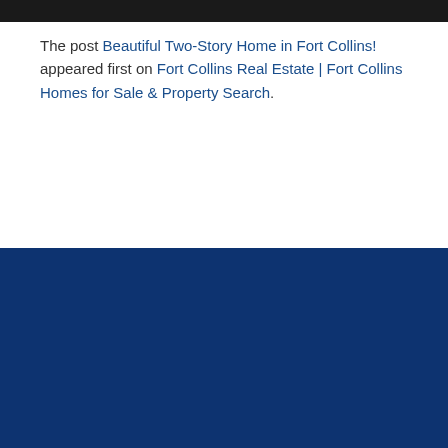[Figure (photo): Dark image bar at top of page]
The post Beautiful Two-Story Home in Fort Collins! appeared first on Fort Collins Real Estate | Fort Collins Homes for Sale & Property Search.
REQUEST MORE INFORMATION...
Your Name (form input field)
Your Email (form input field)